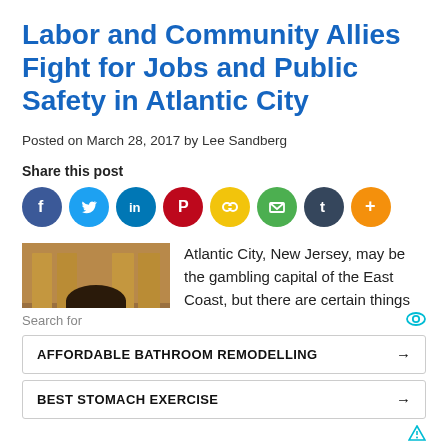Labor and Community Allies Fight for Jobs and Public Safety in Atlantic City
Posted on March 28, 2017 by Lee Sandberg
Share this post
[Figure (infographic): Row of social media share icon buttons: Facebook (blue circle), Twitter (blue circle), LinkedIn (blue circle), Pinterest (red circle), copy link (yellow circle), email (green circle), Tumblr (dark blue circle), more/plus (orange circle)]
[Figure (photo): Headshot photo of a young man with dark hair, smiling, in an indoor setting with warm wooden tones in the background]
Atlantic City, New Jersey, may be the gambling capital of the East Coast, but there are certain things that shouldn't be left up to chance, namely public safety.
Search for
AFFORDABLE BATHROOM REMODELLING →
BEST STOMACH EXERCISE →